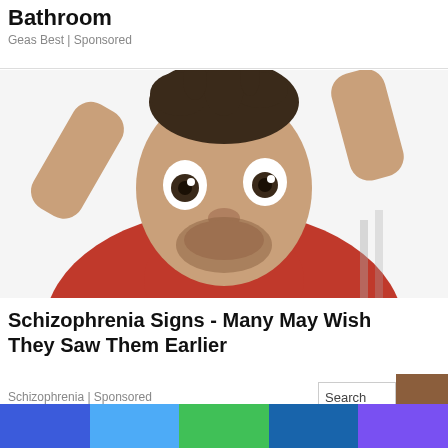Bathroom
Geas Best | Sponsored
[Figure (photo): A man in a red shirt with wide eyes holding his head with both hands, appearing shocked or stressed, against a white background.]
Schizophrenia Signs - Many May Wish They Saw Them Earlier
Schizophrenia | Sponsored
[Figure (other): Search box UI element with a brown block beside it]
[Figure (infographic): Color bar strip with blue, sky blue, green, dark blue, and purple segments at the bottom of the page]